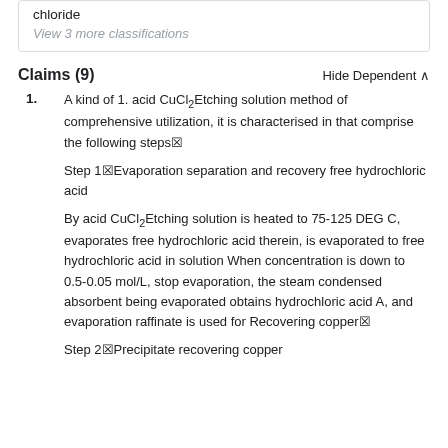chloride
View 3 more classifications
Claims (9)
Hide Dependent ^
1. A kind of 1. acid CuCl2Etching solution method of comprehensive utilization, it is characterised in that comprise the following steps♢

Step 1♢Evaporation separation and recovery free hydrochloric acid

By acid CuCl2Etching solution is heated to 75-125 DEG C, evaporates free hydrochloric acid therein, is evaporated to free hydrochloric acid in solution When concentration is down to 0.5-0.05 mol/L, stop evaporation, the steam condensed absorbent being evaporated obtains hydrochloric acid A, and evaporation raffinate is used for Recovering copper♢

Step 2♢Precipitate recovering copper